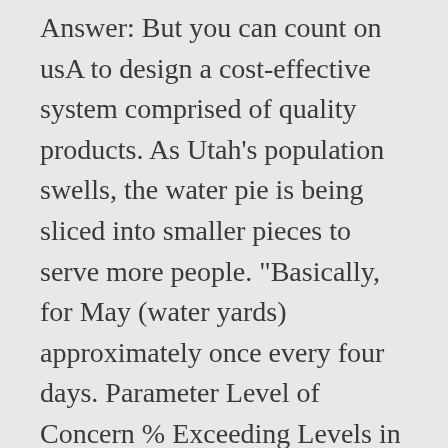Answer: But you can count on usA to design a cost-effective system comprised of quality products. As Utah's population swells, the water pie is being sliced into smaller pieces to serve more people. "Basically, for May (water yards) approximately once every four days. Parameter Level of Concern % Exceeding Levels in PA Notes; pH: Below 5.0 or above 7.0 Yes. Answer. "My first advice would be talk to your neighbor," Duer said. Tell me about your ability to work under pressure? Provide recommended study resources for any questions that you miss. Offering their best-guesses to our questions are Stephanie Duer, Salt Lake City's water conservation coordinator; Larry Anderson, director, Utah